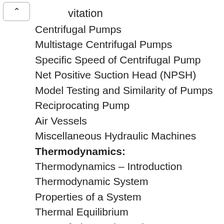vitation
Centrifugal Pumps
Multistage Centrifugal Pumps
Specific Speed of Centrifugal Pump
Net Positive Suction Head (NPSH)
Model Testing and Similarity of Pumps
Reciprocating Pump
Air Vessels
Miscellaneous Hydraulic Machines
Thermodynamics:
Thermodynamics – Introduction
Thermodynamic System
Properties of a System
Thermal Equilibrium
Laws of Thermodynamics
Laws of Perfect Gases
General Gas Equation
Characteristic Equation of a Gas